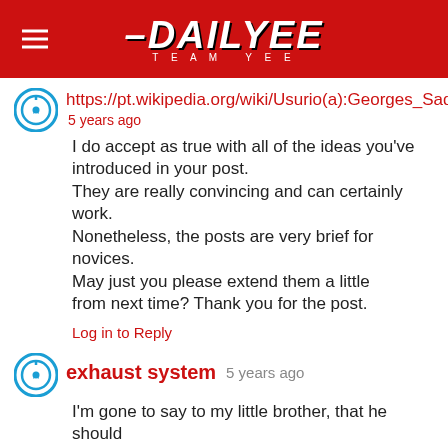[Figure (logo): DailyYee / Team Yee logo on red banner with hamburger menu icon]
https://pt.wikipedia.org/wiki/Usurio(a):Georges_Sad
5 years ago
I do accept as true with all of the ideas you've introduced in your post. They are really convincing and can certainly work. Nonetheless, the posts are very brief for novices. May just you please extend them a little from next time? Thank you for the post.
Log in to Reply
exhaust system 5 years ago
I'm gone to say to my little brother, that he should also visit this weblog on regular basis to take updated from most recent news.